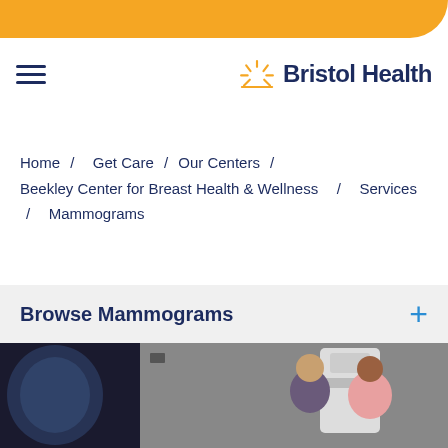[Figure (logo): Bristol Health logo with sun rays icon and text]
Home / Get Care / Our Centers / Beekley Center for Breast Health & Wellness / Services / Mammograms
Browse Mammograms
[Figure (photo): Medical staff assisting a patient with mammogram equipment in a clinical setting; mammogram image visible on left side]